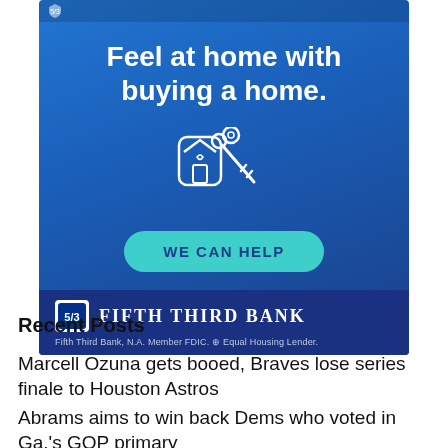[Figure (illustration): Fifth Third Bank advertisement with blue gradient background, headline 'Feel at home with buying a home.', keys illustration, teal 'WE CAN HELP' button, Fifth Third Bank logo and fine print about FDIC membership and Equal Housing Lender.]
Recent Posts
Marcell Ozuna gets booed, Braves lose series finale to Houston Astros
Abrams aims to win back Dems who voted in Ga.'s GOP primary